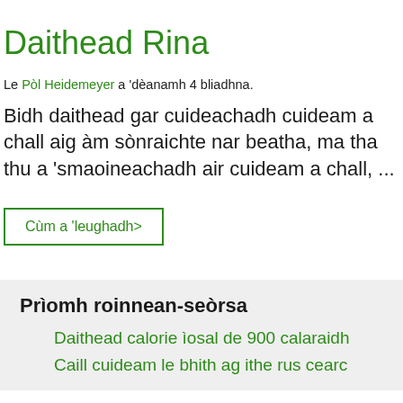Daithead Rina
Le Pòl Heidemeyer a 'dèanamh 4 bliadhna.
Bidh daithead gar cuideachadh cuideam a chall aig àm sònraichte nar beatha, ma tha thu a 'smaoineachadh air cuideam a chall, ...
Cùm a 'leughadh>
Prìomh roinnean-seòrsa
Daithead calorie ìosal de 900 calaraidh
Caill cuideam le bhith ag ithe rus cearc